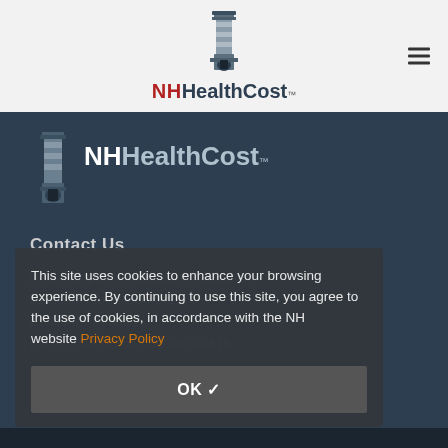[Figure (logo): NH HealthCost logo with lighthouse icon in light gray header bar]
[Figure (logo): NH HealthCost logo with lighthouse icon on dark blue background]
Contact Us
New Hampshire Insurance Department
21 South Fruit St, Suite 14
Concord, NH 03301
(603) 271-2261 or 1-800-852-3416
This site uses cookies to enhance your browsing experience. By continuing to use this site, you agree to the use of cookies, in accordance with the NH website Privacy Policy
OK ✓